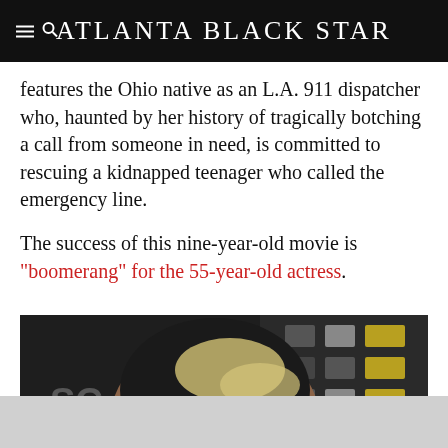Atlanta Black Star
features the Ohio native as an L.A. 911 dispatcher who, haunted by her history of tragically botching a call from someone in need, is committed to rescuing a kidnapped teenager who called the emergency line.
The success of this nine-year-old movie is like a "boomerang" for the 55-year-old actress.
[Figure (photo): Close-up photo of a woman with short dark hair with blonde highlights, wearing green earrings, at what appears to be a red carpet event with a dark backdrop featuring logos.]